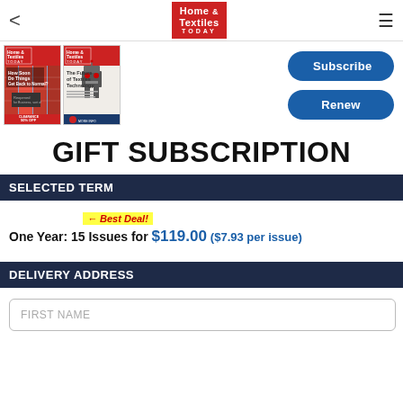Home & Textiles TODAY
[Figure (illustration): Two Home & Textiles TODAY magazine covers side by side. Left cover: containers/supply chain with text 'How Soon Do Things Get Back to Normal?' and a clearance 50% off sign. Right cover: robot figure with text 'The Future of Textiles Technology'.]
Subscribe
Renew
GIFT SUBSCRIPTION
SELECTED TERM
Best Deal!
One Year: 15 Issues for $119.00 ($7.93 per issue)
DELIVERY ADDRESS
FIRST NAME